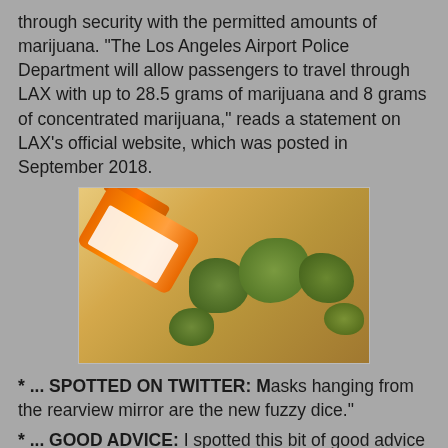through security with the permitted amounts of marijuana. "The Los Angeles Airport Police Department will allow passengers to travel through LAX with up to 28.5 grams of marijuana and 8 grams of concentrated marijuana," reads a statement on LAX's official website, which was posted in September 2018.
[Figure (photo): An orange prescription pill bottle tipped on its side with cannabis buds/marijuana spilled out onto a wooden surface.]
* ... SPOTTED ON TWITTER: Masks hanging from the rearview mirror are the new fuzzy dice."
* ... GOOD ADVICE: I spotted this bit of good advice on Facebook from my friend Louis Gill, head of the Bakersfield Homeless Center: "What was... is done.  Change is here.